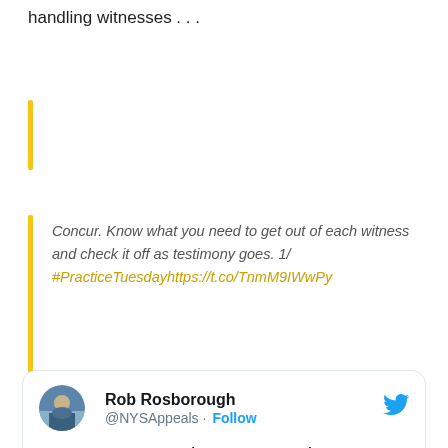The conversation ranges from reminders about handling witnesses . . .
Concur. Know what you need to get out of each witness and check it off as testimony goes. 1/ #PracticeTuesdayhttps://t.co/TnmM9IWwPy
[Figure (screenshot): Embedded tweet card from Rob Rosborough (@NYSAppeals) with Follow button and Twitter bird logo. Tweet text: Concur. Know what you need to get out of each witness and check it off as testimony goes. 1/ #PracticeTuesday twitter.com/kevinmclark/st...]